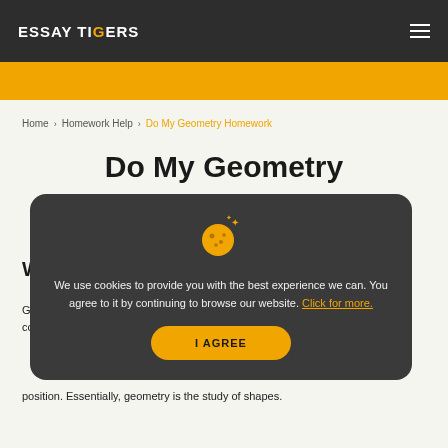ESSAY TIGERS
Home > Homework Help > Do My Geometry Homework
Do My Geometry
W
G co
position. Essentially, geometry is the study of shapes.
We use cookies to provide you with the best experience we can. You agree to it by continuing to browse our website. Click for more.
I AGREE